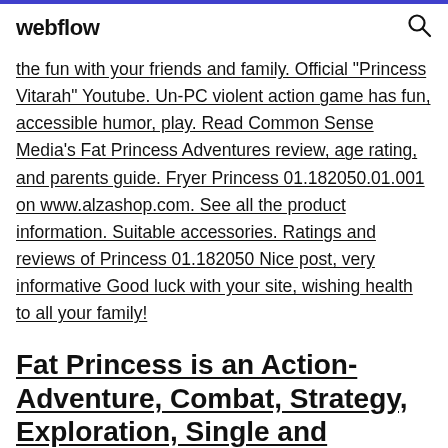webflow
the fun with your friends and family. Official "Princess Vitarah" Youtube. Un-PC violent action game has fun, accessible humor, play. Read Common Sense Media's Fat Princess Adventures review, age rating, and parents guide. Fryer Princess 01.182050.01.001 on www.alzashop.com. See all the product information. Suitable accessories. Ratings and reviews of Princess 01.182050 Nice post, very informative Good luck with your site, wishing health to all your family!
Fat Princess is an Action-Adventure, Combat, Strategy, Exploration, Single and